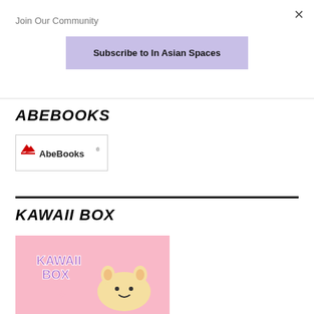Join Our Community
Subscribe to In Asian Spaces
ABEBOOKS
[Figure (logo): AbeBooks logo with red bird/wing symbol and AbeBooks text]
KAWAII BOX
[Figure (illustration): Kawaii Box promotional image with pink background and cute characters]